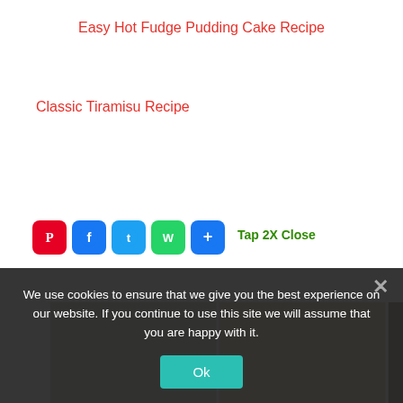Easy Hot Fudge Pudding Cake Recipe
Classic Tiramisu Recipe
Tap 2X Close
[Figure (photo): Welcome to My [Blog/Kitchen] collage of food photos with WELCOME TO MY text overlay]
Previous post | Bu... | Next post | ...cken Broccoli Rice | Bu... | Casserole Recipe
We use cookies to ensure that we give you the best experience on our website. If you continue to use this site we will assume that you are happy with it.